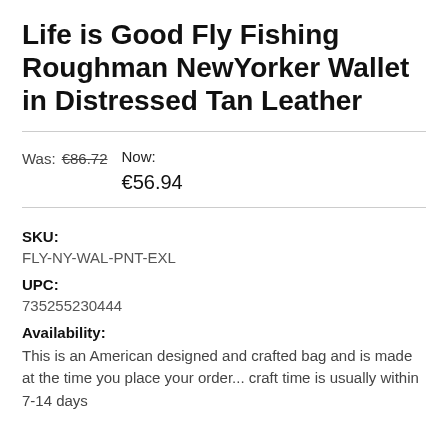Life is Good Fly Fishing Roughman NewYorker Wallet in Distressed Tan Leather
Was: €86.72  Now: €56.94
SKU:
FLY-NY-WAL-PNT-EXL
UPC:
735255230444
Availability:
This is an American designed and crafted bag and is made at the time you place your order... craft time is usually within 7-14 days